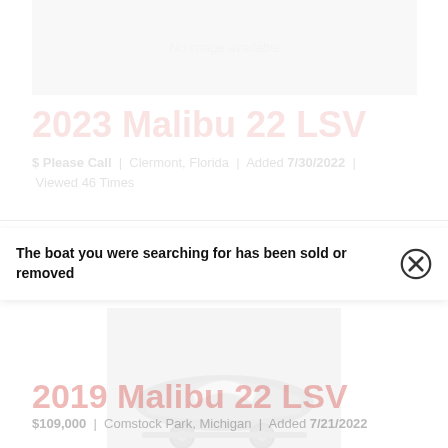[Figure (photo): Faded boat listing image placeholder at top of page]
2023 Malibu 22 LSV
$ Please Call | Clermont, Florida | Added 7/30/2022 | Viewed 46 Times
The boat you were searching for has been sold or removed
[Figure (photo): Faded boat image showing a boat on a trailer in winter/snow conditions]
2019 Malibu 22 LSV
$109,000 | Comstock Park, Michigan | Added 7/21/2022